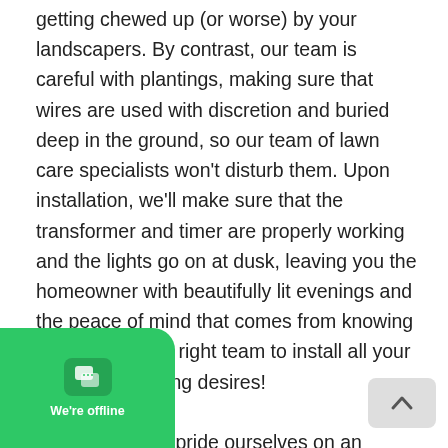getting chewed up (or worse) by your landscapers. By contrast, our team is careful with plantings, making sure that wires are used with discretion and buried deep in the ground, so our team of lawn care specialists won't disturb them. Upon installation, we'll make sure that the transformer and timer are properly working and the lights go on at dusk, leaving you the homeowner with beautifully lit evenings and the peace of mind that comes from knowing you've hired the right team to install all your landscape lighting desires!
Additionally, we pride ourselves on an ongoing relationship with our clients. After we've done our install, we'd be happy to come back should you